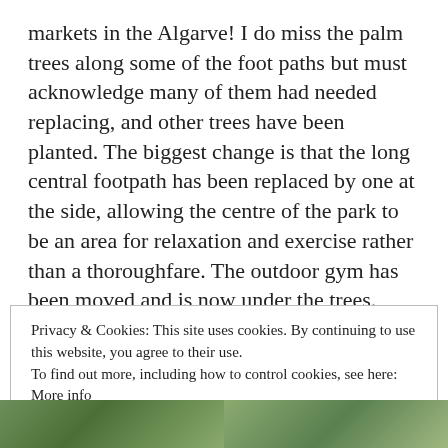markets in the Algarve! I do miss the palm trees along some of the foot paths but must acknowledge many of them had needed replacing, and other trees have been planted. The biggest change is that the long central footpath has been replaced by one at the side, allowing the centre of the park to be an area for relaxation and exercise rather than a thoroughfare. The outdoor gym has been moved and is now under the trees. They have also expanded the children's playground. Four of the photographs in the gallery are
Privacy & Cookies: This site uses cookies. By continuing to use this website, you agree to their use.
To find out more, including how to control cookies, see here: More info
[Figure (photo): Two partial photographs visible at the bottom of the page showing outdoor greenery/trees]